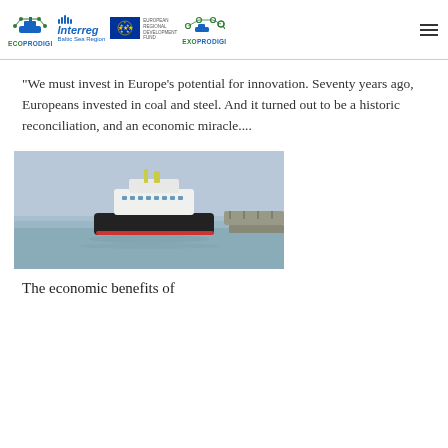ECOPRODIGI | Interreg Baltic Sea Region | European Union European Regional Development Fund | EXOPRODIGI
"We must invest in Europe's potential for innovation. Seventy years ago, Europeans invested in coal and steel. And it turned out to be a historic reconciliation, and an economic miracle....
[Figure (photo): A ferry/ship vessel at sea near a port with a stone pier, grey sky and calm water]
The economic benefits of